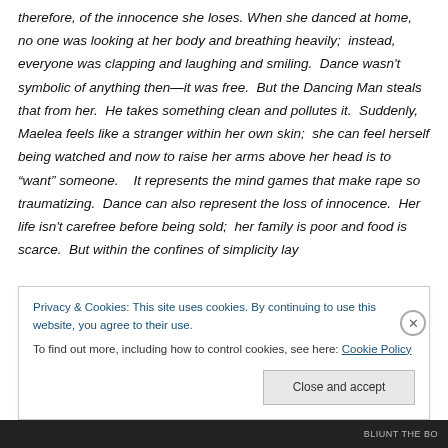therefore, of the innocence she loses. When she danced at home, no one was looking at her body and breathing heavily;  instead, everyone was clapping and laughing and smiling.  Dance wasn't symbolic of anything then—it was free.  But the Dancing Man steals that from her.  He takes something clean and pollutes it.  Suddenly, Maelea feels like a stranger within her own skin;  she can feel herself being watched and now to raise her arms above her head is to “want” someone.   It represents the mind games that make rape so traumatizing.  Dance can also represent the loss of innocence.  Her life isn't carefree before being sold;  her family is poor and food is scarce.  But within the confines of simplicity lay
Privacy & Cookies: This site uses cookies. By continuing to use this website, you agree to their use.
To find out more, including how to control cookies, see here: Cookie Policy
Close and accept
BLIUNT THE BO